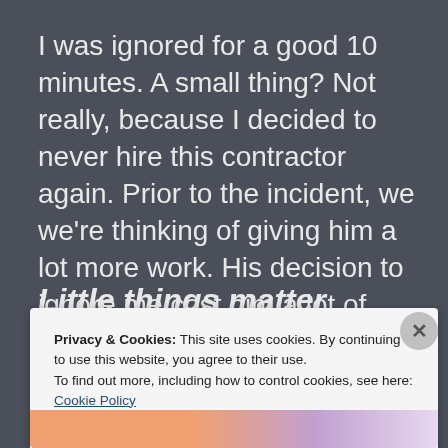I was ignored for a good 10 minutes. A small thing? Not really, because I decided to never hire this contractor again. Prior to the incident, we we're thinking of giving him a lot more work. His decision to ignore me cost him a lot of money, and he doesn't even know it.
Little things matter
Privacy & Cookies: This site uses cookies. By continuing to use this website, you agree to their use.
To find out more, including how to control cookies, see here: Cookie Policy
Close and accept